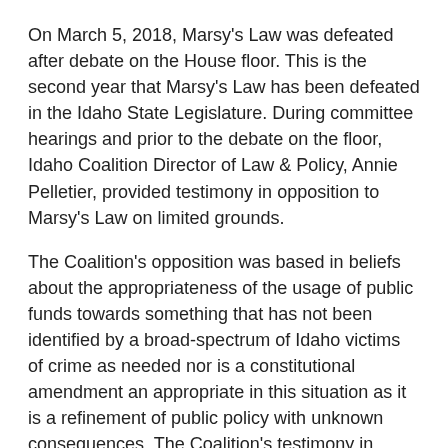On March 5, 2018, Marsy's Law was defeated after debate on the House floor. This is the second year that Marsy's Law has been defeated in the Idaho State Legislature. During committee hearings and prior to the debate on the floor, Idaho Coalition Director of Law & Policy, Annie Pelletier, provided testimony in opposition to Marsy's Law on limited grounds.
The Coalition's opposition was based in beliefs about the appropriateness of the usage of public funds towards something that has not been identified by a broad-spectrum of Idaho victims of crime as needed nor is a constitutional amendment an appropriate in this situation as it is a refinement of public policy with unknown consequences. The Coalition's testimony in opposition was as follows:
This is a policy solution in search of a problem forwarded and financed by an individual from California. This well-funded campaign to amend Idaho's